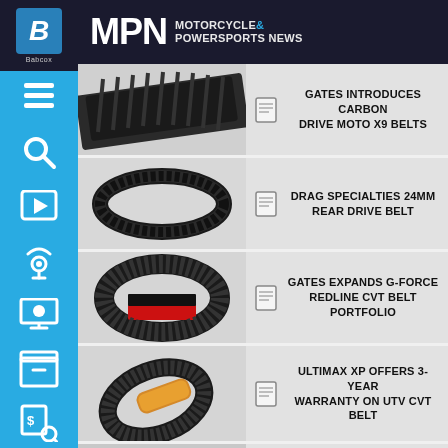MPN MOTORCYCLE & POWERSPORTS NEWS
GATES INTRODUCES CARBON DRIVE MOTO X9 BELTS
DRAG SPECIALTIES 24MM REAR DRIVE BELT
GATES EXPANDS G-FORCE REDLINE CVT BELT PORTFOLIO
ULTIMAX XP OFFERS 3-YEAR WARRANTY ON UTV CVT BELT
[Figure (photo): Motorcycle drive belt - carbon ribbed flat belt]
[Figure (photo): Motorcycle drive belt - V-belt oval loop]
[Figure (photo): CVT belt - wide ribbed belt with red/black label]
[Figure (photo): Ultimax XP UTV CVT belt with orange logo label]